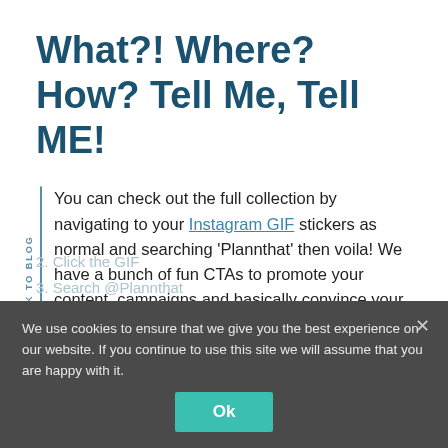What?! Where? How? Tell Me, Tell ME!
You can check out the full collection by navigating to your Instagram GIF stickers as normal and searching ‘Plannthat’ then voila! We have a bunch of fun CTAs to promote your content, campaigns and basically convince your viewers to keep tap, tap, tapping away!
So, just to recap:
We use cookies to ensure that we give you the best experience on our website. If you continue to use this site we will assume that you are happy with it.